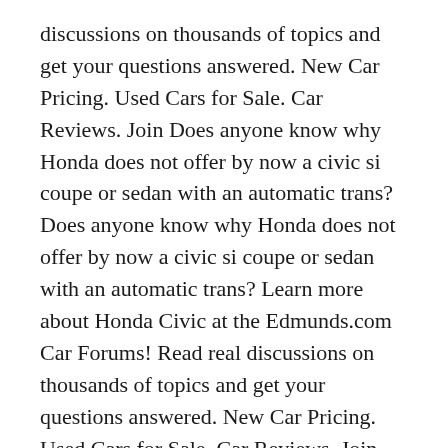discussions on thousands of topics and get your questions answered. New Car Pricing. Used Cars for Sale. Car Reviews. Join Does anyone know why Honda does not offer by now a civic si coupe or sedan with an automatic trans? Does anyone know why Honda does not offer by now a civic si coupe or sedan with an automatic trans? Learn more about Honda Civic at the Edmunds.com Car Forums! Read real discussions on thousands of topics and get your questions answered. New Car Pricing. Used Cars for Sale. Car Reviews. Join
20/03/2009B B· All are manual. Buying an automatic Si would not make any sense. Automatic takes the sportiness and power out of the car. Manual cars are slightly more